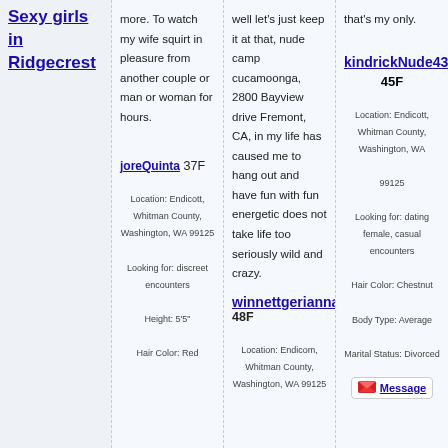Sexy girls in Ridgecrest
more. To watch my wife squirt in pleasure from another couple or man or woman for hours.
well let's just keep it at that, nude camp cucamoonga, 2800 Bayview drive Fremont, CA, in my life has caused me to hang out and have fun with fun energetic does not take life too seriously wild and crazy.
that's my only.
joreQuinta 37F
Location: Endicott, Whitman County, Washington, WA 99125
Looking for: discreet encounters
Height: 5'5"
Hair Color: Red
winnettgerianna 48F
Location: Endicot, Whitman County, Washington, WA 99125
kindrickNude434
45F
Location: Endicott, Whitman County, Washington, WA
99125
Looking for: dating female, casual encounters
Hair Color: Chestnut
Body Type: Average
Marital Status: Divorced
Message